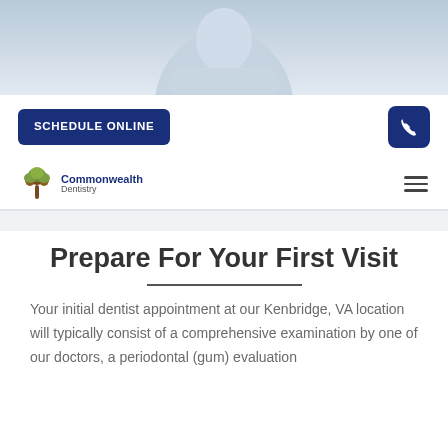[Figure (photo): Partial photo of a dentist/doctor in white coat, cropped at top of page]
[Figure (other): SCHEDULE ONLINE button (dark navy blue) on left, phone icon button (dark navy blue) on right]
[Figure (logo): Commonwealth Dentistry logo with tree icon on left, hamburger menu icon on right]
Prepare For Your First Visit
Your initial dentist appointment at our Kenbridge, VA location will typically consist of a comprehensive examination by one of our doctors, a periodontal (gum) evaluation